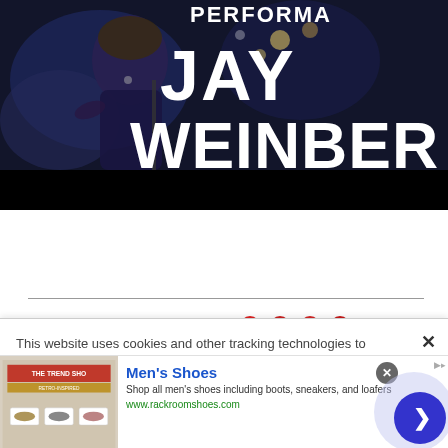[Figure (photo): Concert/performance photo background with dark blue tones, performer visible. Large white bold text overlay reads 'PERFORMA' (cropped), 'JAY', 'WEINBER' (cropped). Black bar at bottom of image.]
This website uses cookies and other tracking technologies to enhance user experience and to analyze performance and traffic on our website. Information about your use of our site may also be shared with social media, advertising, retail and analytics providers and partners.  Privacy Policy
[Figure (infographic): Advertisement banner for Men's Shoes from Rack Room Shoes. Shows product image on left, with title 'Men's Shoes', description 'Shop all men's shoes including boots, sneakers, and loafers', and URL 'www.rackroomshoes.com'. Navigation arrow button on right.]